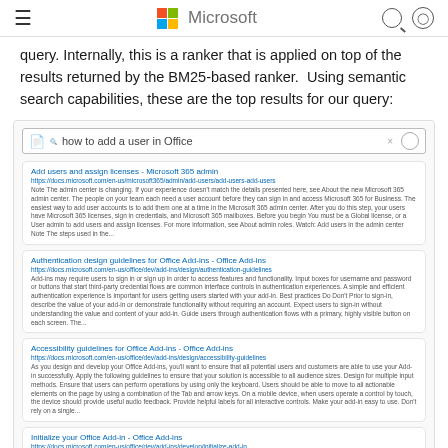Microsoft
query. Internally, this is a ranker that is applied on top of the results returned by the BM25-based ranker.  Using semantic search capabilities, these are the top results for our query:
[Figure (screenshot): Screenshot of a Microsoft search UI showing a search box with the query 'how to add a user in Office' and four search result cards below it. Each card has a title link in blue, a URL in blue, and a snippet of descriptive text.]
Add users and assign licenses - Microsoft 365 admin
https://docs.microsoft.com/en-us/microsoft-365/admin/add-users/add-users
Note The admin center is changing. If your experience doesn't match the details presented here, see About the new Microsoft 365 admin center. The people on your team each need a user account before they can sign in and access Microsoft 365 for Business. The easiest way to add user accounts is to add them one at a time in the Microsoft 365 admin center. After you do this step, your users have Microsoft 365 licenses, sign in credentials, and Microsoft 365 mailboxes. Before you begin You must be a Global license, or a User admin to add users and assign licenses. For more information, see About admin roles. Watch: Add users in the admin center Note The steps used in the...
Authentication design guidelines for Office Add-ins - Office Add-ins
https://docs.microsoft.com/en-us/office/dev/add-ins/design/authentication-guidelines
Add-ins may require users to sign in or sign up in order to access features and functionality. Input boxes for username and password or buttons that start third party credential flows are common interface controls in authentication experiences. A simple and efficient authentication experience is important for users getting users started with your add-in. Best practices Do Don't Prior to sign-in, describe the value of your add-in or demonstrate functionality without requiring an account. Expect users to sign-in without understanding the value and content of your add-in. Guide users through authentication flows with a primary, highly visible button on each screen. The...
Accessibility guidelines for Office Add-ins - Office Add-ins
https://docs.microsoft.com/en-us/office/dev/add-ins/design/accessibility-guidelines
As you design and develop your Office Add-ins, you'll want to ensure that all potential users and customers are able to use your Add-in successfully. Apply the following guidelines to ensure that your solution is accessible to all audience sizes. Design for multiple input methods. Ensure that users can perform operations by using only the keyboard. Users should be able to move to all actionable elements on the page by using a combination of the Tab and arrow keys. On a mobile device, when users operate a control by touch, the device should provide useful audio feedback. Provide helpful labels for all interactive controls. Make your add-in easy to use. Don't rely on a single...
Initialize your Office Add-in - Office Add-ins
https://docs.microsoft.com/en-us/office/dev/add-ins/develop/initialize-add-in
Office Add-ins often have startup logic to do things such as: Check that the user's version of Office supports all the Office APIs that your code calls. Ensure the existence of certain artifacts, such as a worksheet with a specific name. Prompt the user to select some cells in Excel, and then insert a chart initialized with those selected values. Establish bindings. Use the Office Dialog API to prompt the user for default add-in settings values. However, an Office Add-in cannot successfully call any Office JavaScript APIs until the library has been loaded. This article describes the two ways your code can ensure that the library has been loaded (initialize (Office.onReady()): Initialize...